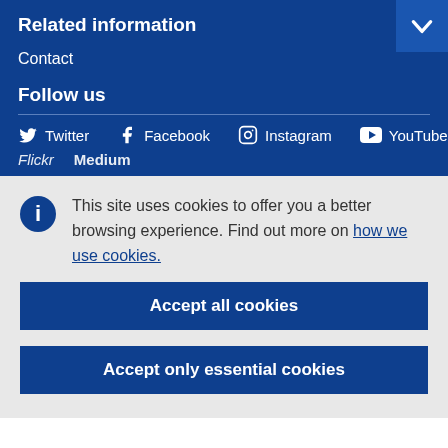Related information
Contact
Follow us
Twitter   Facebook   Instagram   YouTube
Flickr   Medium
This site uses cookies to offer you a better browsing experience. Find out more on how we use cookies.
Accept all cookies
Accept only essential cookies